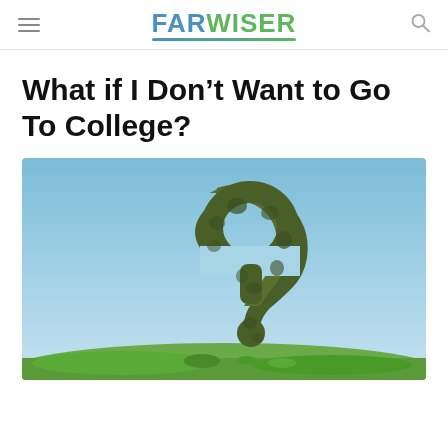FARWISER
What if I Don’t Want to Go To College?
[Figure (photo): A large question mark shaped from green leafy bushes/hedges, standing in a grassy field against a bright blue sky.]